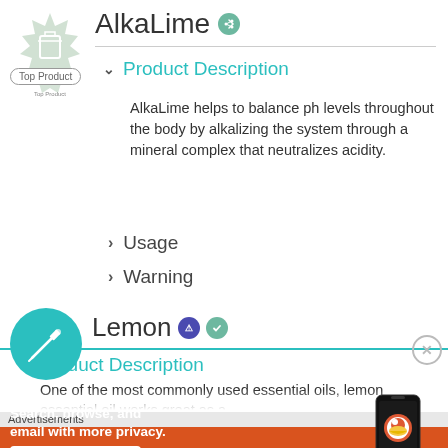AlkaLime
Product Description
AlkaLime helps to balance ph levels throughout the body by alkalizing the system through a mineral complex that neutralizes acidity.
Usage
Warning
Lemon
Product Description
One of the most commonly used essential oils, lemon essential oil works great as a
Advertisements
Search, browse, and email with more privacy. All in One Free App DuckDuckGo.